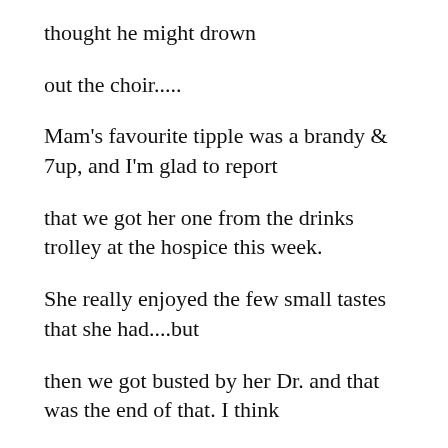thought he might drown
out the choir.....
Mam's favourite tipple was a brandy & 7up, and I'm glad to report
that we got her one from the drinks trolley at the hospice this week.
She really enjoyed the few small tastes that she had....but
then we got busted by her Dr. and that was the end of that. I think